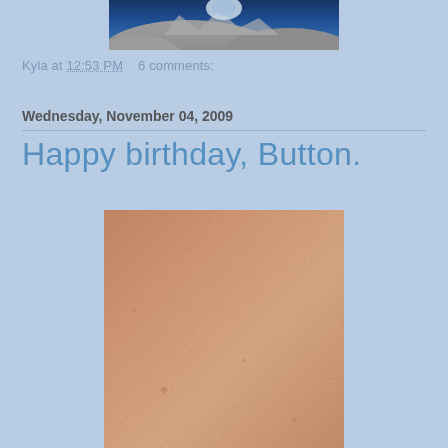[Figure (photo): Partial view of a space/satellite image showing blue and gray rocky terrain at the top of the page]
Kyla at 12:53 PM    6 comments:
Wednesday, November 04, 2009
Happy birthday, Button.
[Figure (photo): Close-up photograph of skin/belly surface with warm peach-tan coloring and fine texture detail]